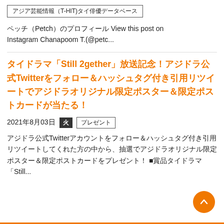アジア芸能情報（T-HIT)タイ俳優データベース
ペッチ（Petch）のプロフィール View this post on Instagram Chanapoom T.(@petc...
タイドラマ「Still 2gether」放送記念！アジドラ公式Twitterをフォロー＆ハッシュタグ付き引用リツイートでアジドラオリジナル限定ポスター＆限定ポストカードが当たる！
2021年8月03日　火　プレゼント
アジドラ公式Twitterアカウントをフォロー＆ハッシュタグ付き引用リツイートしてくれた方の中から、抽選でアジドラオリジナル限定ポスター＆限定ポストカードをプレゼント！ ■賞品タイドラマ「Still...